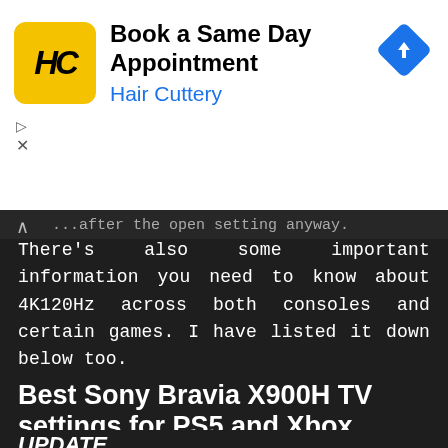[Figure (other): Hair Cuttery advertisement banner with yellow logo, 'Book a Same Day Appointment' text, 'Hair Cuttery' subtitle in blue, and a blue diamond navigation arrow icon on the right]
There's also some important information you need to know about 4K120Hz across both consoles and certain games. I have listed it down below too.
Best Sony Bravia X900H TV settings for PS5 and Xbox Series X
UPDATE
I have since been testing a range of tweaks that ultimately fix the crushing blacks and overexposed brightness. You can turn Auto